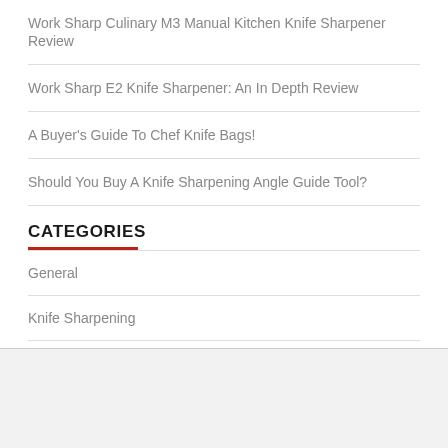Work Sharp Culinary M3 Manual Kitchen Knife Sharpener Review
Work Sharp E2 Knife Sharpener: An In Depth Review
A Buyer's Guide To Chef Knife Bags!
Should You Buy A Knife Sharpening Angle Guide Tool?
CATEGORIES
General
Knife Sharpening
Recipes